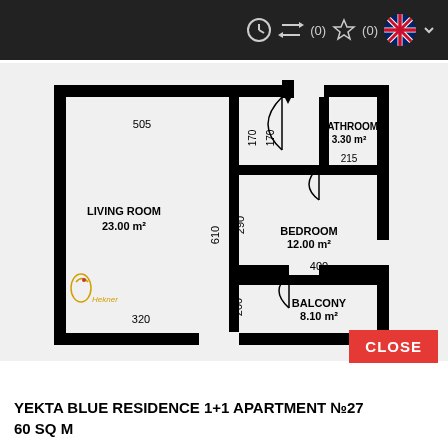[Figure (schematic): Apartment floor plan for Yekta Blue Residence 1+1 Apartment No.27. Shows Living Room 23.00 m², Bedroom 12.00 m², Bathroom 3.30 m², Balcony 8.10 m². Dimensions labeled: 505, 320, 610, 290, 400, 170, 170, 215, 200, 410.]
CLOSE
YEKTA BLUE RESIDENCE 1+1 APARTMENT №27
60 SQ M